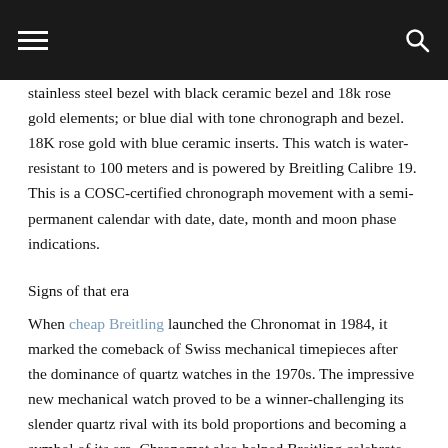Navigation bar with hamburger menu and search icon
stainless steel bezel with black ceramic bezel and 18k rose gold elements; or blue dial with tone chronograph and bezel. 18K rose gold with blue ceramic inserts. This watch is water-resistant to 100 meters and is powered by Breitling Calibre 19. This is a COSC-certified chronograph movement with a semi-permanent calendar with date, date, month and moon phase indications.
Signs of that era
When cheap Breitling launched the Chronomat in 1984, it marked the comeback of Swiss mechanical timepieces after the dominance of quartz watches in the 1970s. The impressive new mechanical watch proved to be a winner-challenging its slender quartz rival with its bold proportions and becoming a symbol of its era. Chronomat also helped Breitling celebrate its